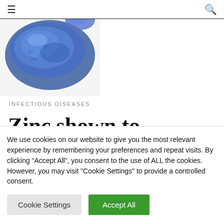≡  🔍
[Figure (photo): Close-up photo of a blue mineral/zinc supplement or zinc crystal against white background]
INFECTIOUS DISEASES
Zinc shown to prevent symptoms and
We use cookies on our website to give you the most relevant experience by remembering your preferences and repeat visits. By clicking "Accept All", you consent to the use of ALL the cookies. However, you may visit "Cookie Settings" to provide a controlled consent.
Cookie Settings  Accept All